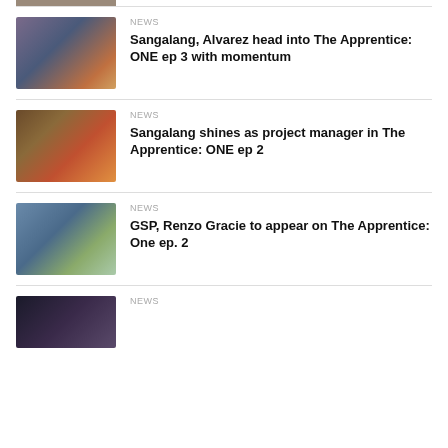[Figure (photo): Partial image at top of page, cropped]
NEWS
Sangalang, Alvarez head into The Apprentice: ONE ep 3 with momentum
[Figure (photo): Group of people at a restaurant table celebrating]
NEWS
Sangalang shines as project manager in The Apprentice: ONE ep 2
[Figure (photo): Two men smiling outdoors, one gesturing]
NEWS
GSP, Renzo Gracie to appear on The Apprentice: One ep. 2
[Figure (photo): Partial image at bottom of page, dark tones]
NEWS